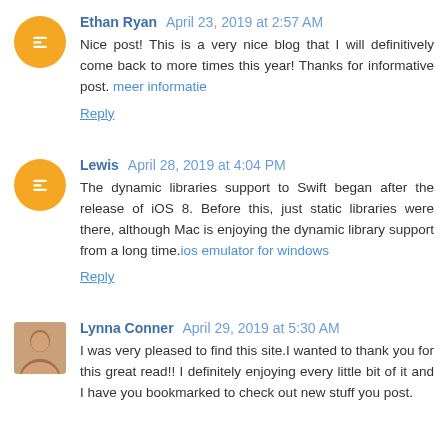Ethan Ryan April 23, 2019 at 2:57 AM
Nice post! This is a very nice blog that I will definitively come back to more times this year! Thanks for informative post. meer informatie
Reply
Lewis April 28, 2019 at 4:04 PM
The dynamic libraries support to Swift began after the release of iOS 8. Before this, just static libraries were there, although Mac is enjoying the dynamic library support from a long time.ios emulator for windows
Reply
Lynna Conner April 29, 2019 at 5:30 AM
I was very pleased to find this site.I wanted to thank you for this great read!! I definitely enjoying every little bit of it and I have you bookmarked to check out new stuff you post.